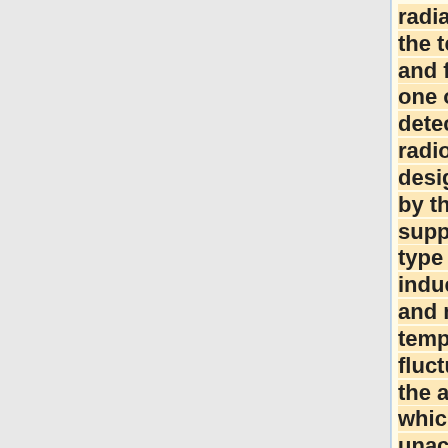radiation from the telescope and feeds it to one or more detectors. The radiometer design is driven by the need to suppress 1/f-type noise induced by gain and noise temperature fluctuations in the amplifiers, which would be unacceptably high for a simple total power system. A differential pseudo-correlation